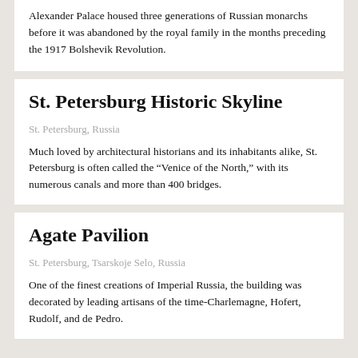Alexander Palace housed three generations of Russian monarchs before it was abandoned by the royal family in the months preceding the 1917 Bolshevik Revolution.
St. Petersburg Historic Skyline
St. Petersburg, Russia
Much loved by architectural historians and its inhabitants alike, St. Petersburg is often called the “Venice of the North,” with its numerous canals and more than 400 bridges.
Agate Pavilion
St. Petersburg, Tsarskoje Selo, Russia
One of the finest creations of Imperial Russia, the building was decorated by leading artisans of the time-Charlemagne, Hofert, Rudolf, and de Pedro.